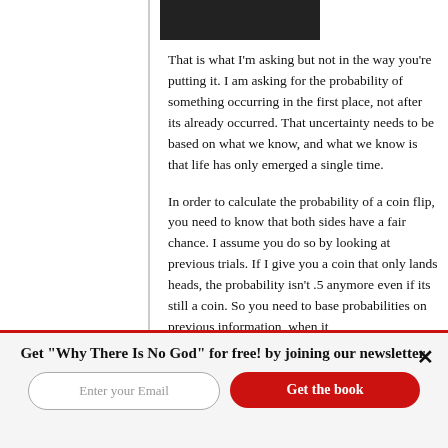[Figure (photo): Dark image partial view at top of page]
That is what I'm asking but not in the way you're putting it. I am asking for the probability of something occurring in the first place, not after its already occurred. That uncertainty needs to be based on what we know, and what we know is that life has only emerged a single time.
In order to calculate the probability of a coin flip, you need to know that both sides have a fair chance. I assume you do so by looking at previous trials. If I give you a coin that only lands heads, the probability isn't .5 anymore even if its still a coin. So you need to base probabilities on previous information, when it
Get "Why There Is No God" for free! by joining our newsletter.
Enter your Email
Get the book